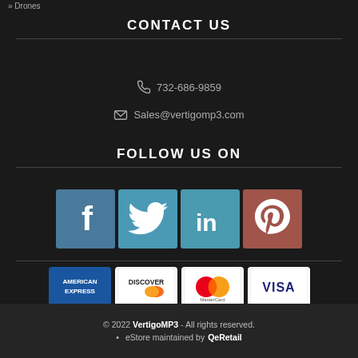» Drones
CONTACT US
732-686-9859
Sales@vertigomp3.com
FOLLOW US ON
[Figure (illustration): Four social media icons: Facebook (blue), Twitter (light blue), LinkedIn (teal), Pinterest (red-brown)]
[Figure (illustration): Four payment method logos: American Express, Discover, MasterCard, Visa]
© 2022 VertigoMP3 - All rights reserved. • eStore maintained by QeRetail